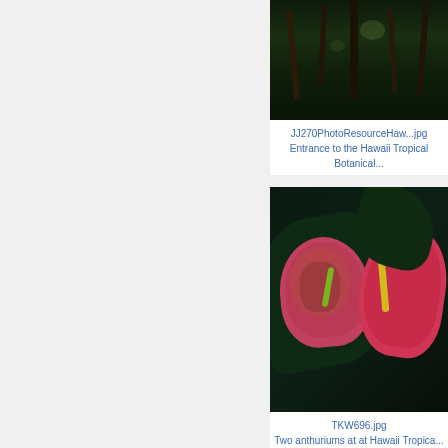[Figure (photo): Tropical forest/trees photo - top part of card for JJ270PhotoResourceHaw...jpg, partially visible at top]
JJ270PhotoResourceHaw...jpg
Entrance to the Hawaii Tropical Botanical...
[Figure (photo): Two anthurium flowers at Hawaii Tropical Botanical Garden - TKW696.jpg]
TKW696.jpg
Two anthuriums at at Hawaii Tropical Botanical...
[Figure (photo): Building interior/ceiling photo - partially visible at bottom]